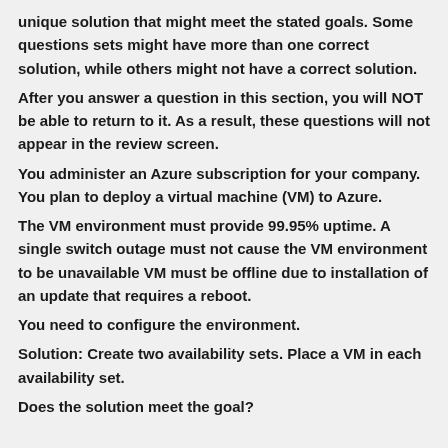unique solution that might meet the stated goals. Some questions sets might have more than one correct solution, while others might not have a correct solution.
After you answer a question in this section, you will NOT be able to return to it. As a result, these questions will not appear in the review screen.
You administer an Azure subscription for your company. You plan to deploy a virtual machine (VM) to Azure.
The VM environment must provide 99.95% uptime. A single switch outage must not cause the VM environment to be unavailable VM must be offline due to installation of an update that requires a reboot.
You need to configure the environment.
Solution: Create two availability sets. Place a VM in each availability set.
Does the solution meet the goal?